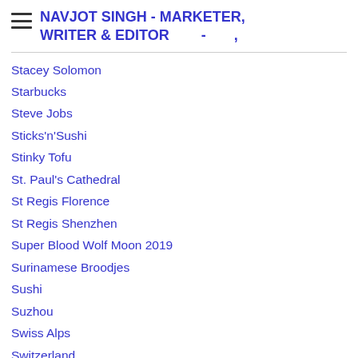NAVJOT SINGH - MARKETER, WRITER & EDITOR - ,
Stacey Solomon
Starbucks
Steve Jobs
Sticks'n'Sushi
Stinky Tofu
St. Paul's Cathedral
St Regis Florence
St Regis Shenzhen
Super Blood Wolf Moon 2019
Surinamese Broodjes
Sushi
Suzhou
Swiss Alps
Switzerland
Tabriz Area
Taishan
Taiwan